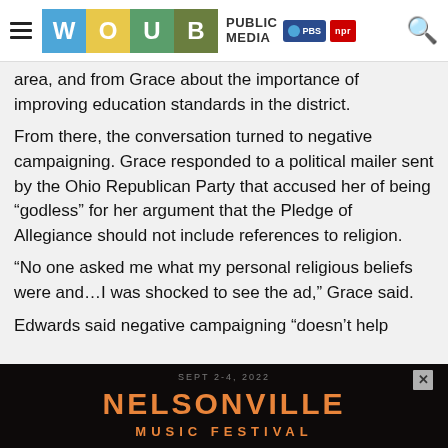WOUB PUBLIC MEDIA PBS NPR
area, and from Grace about the importance of improving education standards in the district.
From there, the conversation turned to negative campaigning. Grace responded to a political mailer sent by the Ohio Republican Party that accused her of being “godless” for her argument that the Pledge of Allegiance should not include references to religion.
“No one asked me what my personal religious beliefs were and…I was shocked to see the ad,” Grace said.
Edwards said negative campaigning “doesn’t help
[Figure (other): Nelsonville Music Festival advertisement banner. Text reads: SEPT 2-4, 2022 NELSONVILLE MUSIC FESTIVAL with orange text on dark background.]